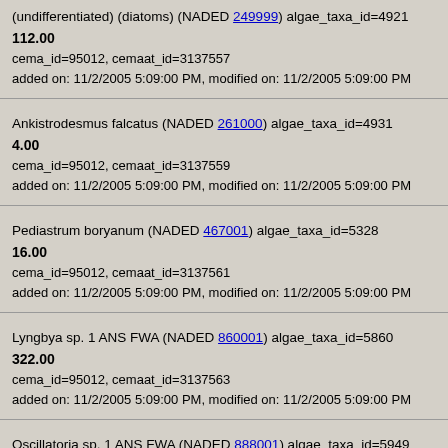(undifferentiated) (diatoms) (NADED 249999) algae_taxa_id=4921
112.00
cema_id=95012, cemaat_id=3137557
added on: 11/2/2005 5:09:00 PM, modified on: 11/2/2005 5:09:00 PM
Ankistrodesmus falcatus (NADED 261000) algae_taxa_id=4931
4.00
cema_id=95012, cemaat_id=3137559
added on: 11/2/2005 5:09:00 PM, modified on: 11/2/2005 5:09:00 PM
Pediastrum boryanum (NADED 467001) algae_taxa_id=5328
16.00
cema_id=95012, cemaat_id=3137561
added on: 11/2/2005 5:09:00 PM, modified on: 11/2/2005 5:09:00 PM
Lyngbya sp. 1 ANS FWA (NADED 860001) algae_taxa_id=5860
322.00
cema_id=95012, cemaat_id=3137563
added on: 11/2/2005 5:09:00 PM, modified on: 11/2/2005 5:09:00 PM
Oscillatoria sp. 1 ANS FWA (NADED 888001) algae_taxa_id=5949